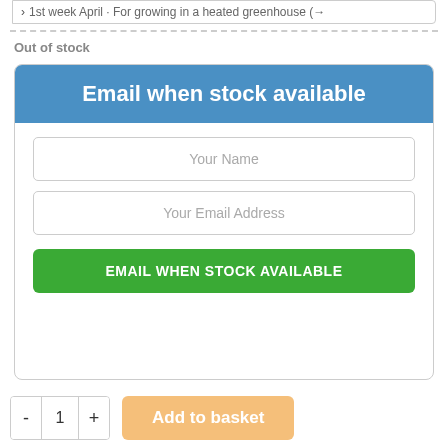1st week April · For growing in a heated greenhouse (→
Out of stock
Email when stock available
Your Name
Your Email Address
EMAIL WHEN STOCK AVAILABLE
- 1 +
Add to basket